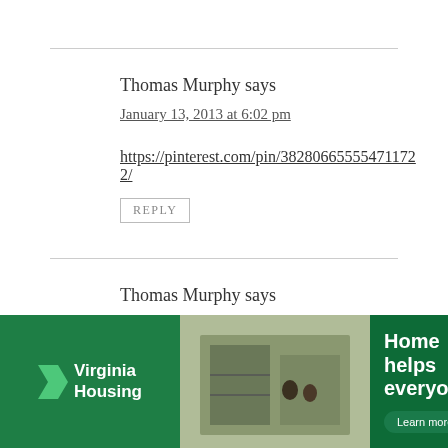Thomas Murphy says
January 13, 2013 at 6:02 pm
https://pinterest.com/pin/382806655554711722/
REPLY
Thomas Murphy says
January 13, 2013 at 6:04 pm
htt... (URL truncated by ad overlay) ...064c...2...8
[Figure (advertisement): Virginia Housing advertisement with green background, logo with white chevron, building photo, and text 'Home helps everyone.' with Learn more button]